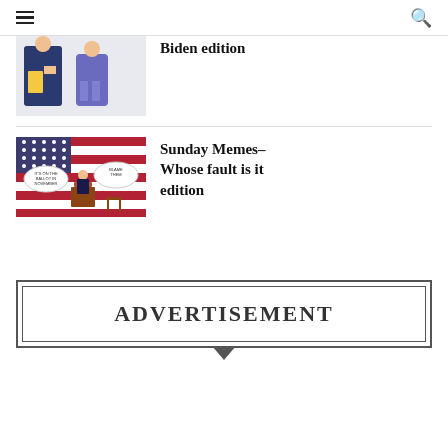☰ (menu) | 🔍 (search)
[Figure (illustration): Partial view of article thumbnail showing cartoon figures - Biden edition article image]
Biden edition
[Figure (illustration): Thumbnail image of political cartoon showing a figure at a podium with American flag background and speech bubbles]
Sunday Memes– Whose fault is it edition
ADVERTISEMENT